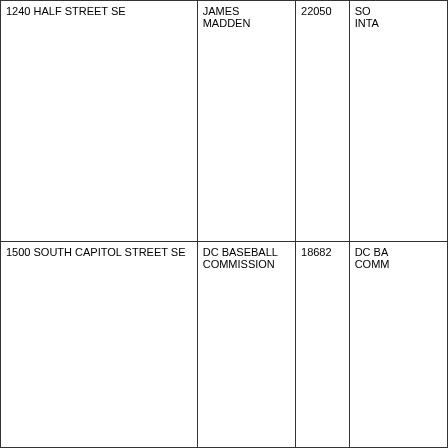| 1240 HALF STREET SE | JAMES MADDEN | 22050 | SO... INTA... |
| 1500 SOUTH CAPITOL STREET SE | DC BASEBALL COMMISSION | 18682 | DC BA... COMM... |